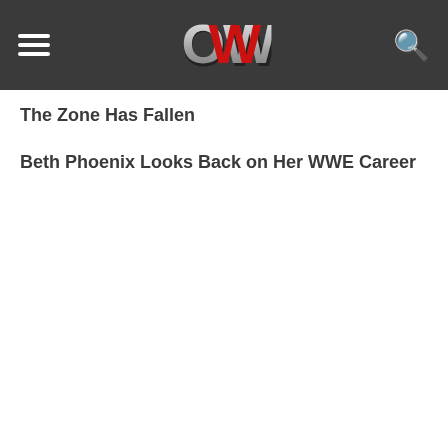OWW - Online World of Wrestling
The Zone Has Fallen
Beth Phoenix Looks Back on Her WWE Career